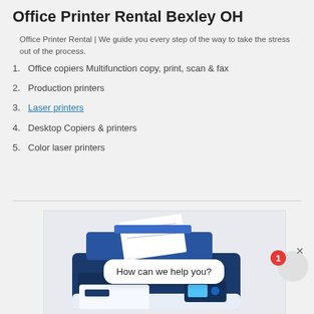Office Printer Rental Bexley OH
Office Printer Rental | We guide you every step of the way to take the stress out of the process.
Office copiers Multifunction copy, print, scan & fax
Production printers
Laser printers
Desktop Copiers & printers
Color laser printers
[Figure (photo): A blue and white multifunction office printer/copier with a chat overlay bubble saying 'How can we help you?' and a red notification badge showing '1', with a close button and avatar circle.]